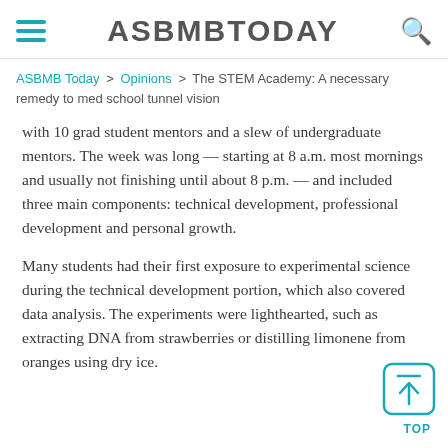ASBMBTODAY
ASBMB Today > Opinions > The STEM Academy: A necessary remedy to med school tunnel vision
with 10 grad student mentors and a slew of undergraduate mentors. The week was long — starting at 8 a.m. most mornings and usually not finishing until about 8 p.m. — and included three main components: technical development, professional development and personal growth.
Many students had their first exposure to experimental science during the technical development portion, which also covered data analysis. The experiments were lighthearted, such as extracting DNA from strawberries or distilling limonene from oranges using dry ice.